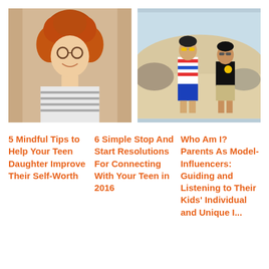[Figure (photo): Smiling woman with curly red hair and glasses, wearing a striped shirt, posing with finger to chin]
[Figure (photo): Two teenage boys standing outdoors near rocks, one wearing a red/blue/white striped tank top and blue shorts, the other in a black t-shirt]
5 Mindful Tips to Help Your Teen Daughter Improve Their Self-Worth
6 Simple Stop And Start Resolutions For Connecting With Your Teen in 2016
Who Am I? Parents As Model-Influencers: Guiding and Listening to Their Kids' Individual and Unique I...